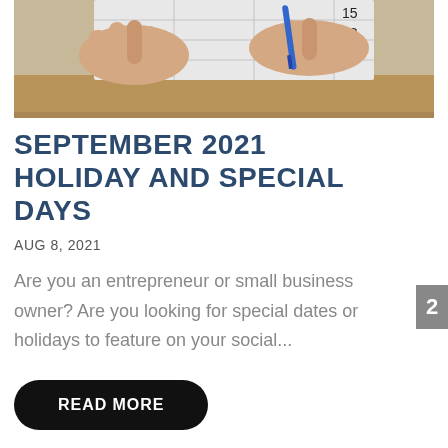[Figure (photo): Close-up photo of hands holding a blue pen over a calendar page showing numbers 15 and 22]
SEPTEMBER 2021 HOLIDAY AND SPECIAL DAYS
AUG 8, 2021
Are you an entrepreneur or small business owner? Are you looking for special dates or holidays to feature on your social...
READ MORE